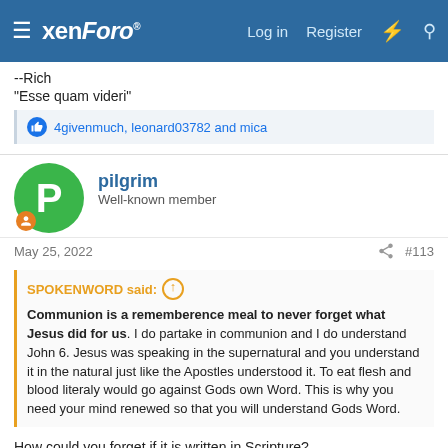xenForo | Log in | Register
--Rich
"Esse quam videri"
👍 4givenmuch, leonard03782 and mica
pilgrim
Well-known member
May 25, 2022  #113
SPOKENWORD said: ↑
Communion is a rememberence meal to never forget what Jesus did for us. I do partake in communion and I do understand John 6. Jesus was speaking in the supernatural and you understand it in the natural just like the Apostles understood it. To eat flesh and blood literaly would go against Gods own Word. This is why you need your mind renewed so that you will understand Gods Word.
How could you forget if it is written in Scripture?